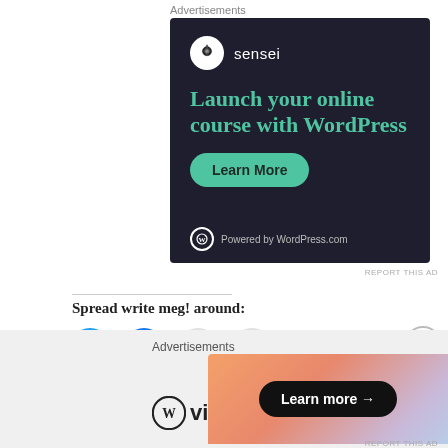Advertisements
[Figure (illustration): Sensei advertisement banner on dark background. Shows Sensei logo (white circle with tree icon) and brand name, headline 'Launch your online course with WordPress' in teal, a 'Learn More' teal rounded button, and 'Powered by WordPress.com' footer text.]
REPORT THIS AD
Spread write meg! around:
[Figure (illustration): Four circular social sharing buttons: Twitter (blue), Facebook (blue), Email (gray), Print (gray)]
Advertisements
[Figure (logo): WordPress VIP logo with circle W icon and 'vip' text in bold]
[Figure (illustration): Advertisement banner with gradient background (orange/pink/purple) and 'Learn more →' button in black rounded rectangle]
REPORT THIS AD